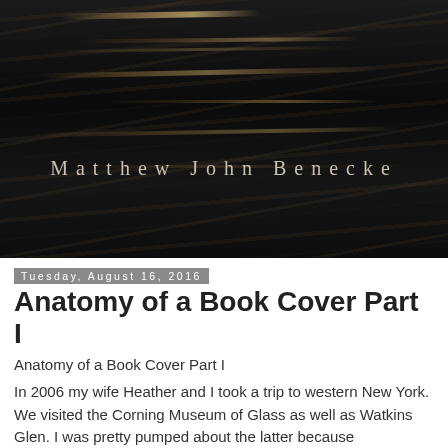[Figure (photo): Dark textured book cover with horizontal gloss/shine streaks on a near-black background. Author name 'Matthew John Benecke' in spaced serif text centered in lower portion of the image.]
Tuesday, August 16, 2016
Anatomy of a Book Cover Part I
Anatomy of a Book Cover Part I
In 2006 my wife Heather and I took a trip to western New York. We visited the Corning Museum of Glass as well as Watkins Glen. I was pretty pumped about the latter because